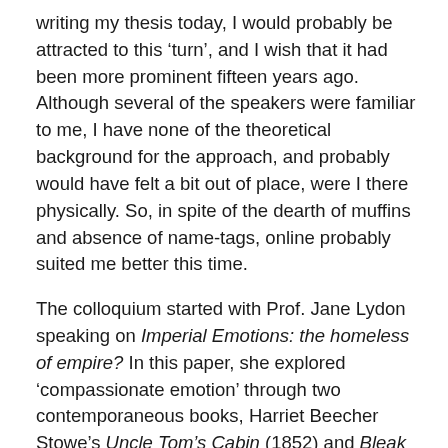writing my thesis today, I would probably be attracted to this ‘turn’, and I wish that it had been more prominent fifteen years ago. Although several of the speakers were familiar to me, I have none of the theoretical background for the approach, and probably would have felt a bit out of place, were I there physically. So, in spite of the dearth of muffins and absence of name-tags, online probably suited me better this time.
The colloquium started with Prof. Jane Lydon speaking on Imperial Emotions: the homeless of empire? In this paper, she explored ‘compassionate emotion’ through two contemporaneous books, Harriet Beecher Stowe’s Uncle Tom’s Cabin (1852) and Bleak House (1852-3) by Charles Dickens. We might call it ‘empathy’ today, but the term was not used at the time. Both novels sought to evoke pity – in